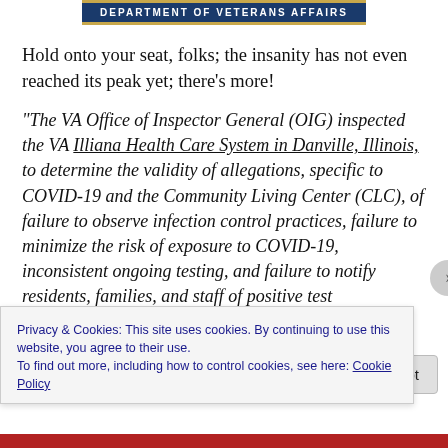[Figure (logo): Department of Veterans Affairs banner/logo in dark blue with gold border]
Hold onto your seat, folks; the insanity has not even reached its peak yet; there's more!
“The VA Office of Inspector General (OIG) inspected the VA Illiana Health Care System in Danville, Illinois, to determine the validity of allegations, specific to COVID-19 and the Community Living Center (CLC), of failure to observe infection control practices, failure to minimize the risk of exposure to COVID-19, inconsistent ongoing testing, and failure to notify residents, families, and staff of positive test
Privacy & Cookies: This site uses cookies. By continuing to use this website, you agree to their use.
To find out more, including how to control cookies, see here: Cookie Policy
Close and accept